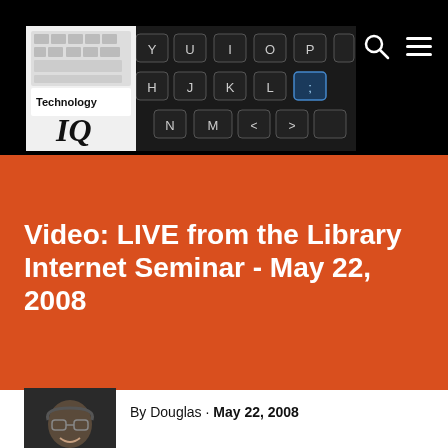[Figure (screenshot): Technology IQ blog header with keyboard photo and Technology IQ logo overlay in top-left, search icon and hamburger menu icon top-right on black background]
Video: LIVE from the Library Internet Seminar - May 22, 2008
[Figure (photo): Author photo - man with glasses smiling, wearing headphones]
By Douglas · May 22, 2008